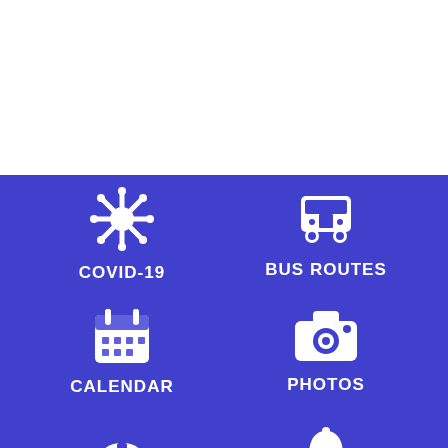[Figure (screenshot): White section at top of mobile app screen]
[Figure (infographic): Blue navigation menu section with icons: COVID-19 (virus icon), BUS ROUTES (bus icon), CALENDAR (calendar icon), PHOTOS (camera icon), and partial icons at bottom for two more items (hard hat icon and bell icon)]